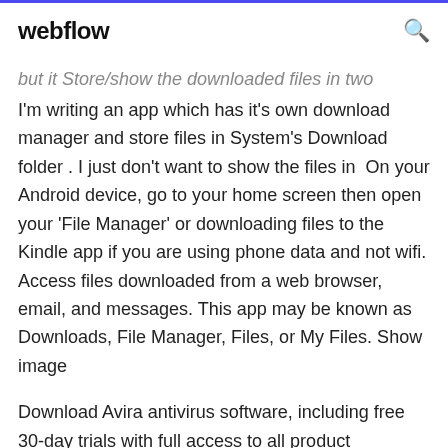webflow
but it Store/show the downloaded files in two
I'm writing an app which has it's own download manager and store files in System's Download folder . I just don't want to show the files in  On your Android device, go to your home screen then open your 'File Manager' or downloading files to the Kindle app if you are using phone data and not wifi. Access files downloaded from a web browser, email, and messages. This app may be known as Downloads, File Manager, Files, or My Files. Show image
Download Avira antivirus software, including free 30-day trials with full access to all product functions.Where Are The Downloads On My